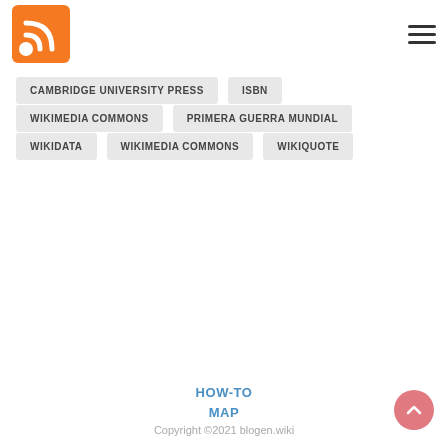RSS logo and navigation hamburger menu
CAMBRIDGE UNIVERSITY PRESS
ISBN
WIKIMEDIA COMMONS
PRIMERA GUERRA MUNDIAL
WIKIDATA
WIKIMEDIA COMMONS
WIKIQUOTE
HOW-TO
MAP
Copyright ©2021 blogen.wiki